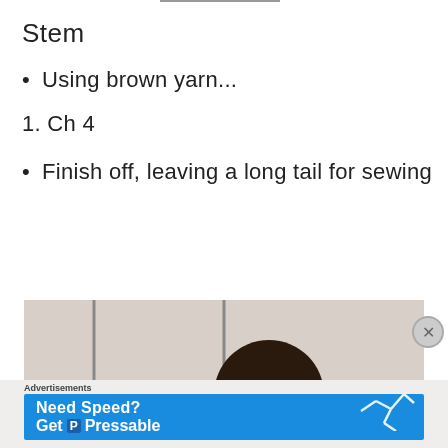Stem
Using brown yarn...
1. Ch 4
Finish off, leaving a long tail for sewing
[Figure (photo): Partial photo of a crocheted item against a light wood background, showing dark circular shape]
Advertisements
[Figure (other): Advertisement banner: Need Speed? Get Pressable — blue background with running figure]